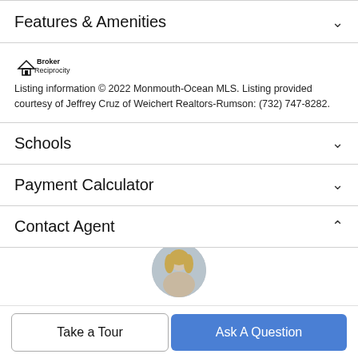Features & Amenities
[Figure (logo): Broker Reciprocity logo with house icon and text]
Listing information © 2022 Monmouth-Ocean MLS. Listing provided courtesy of Jeffrey Cruz of Weichert Realtors-Rumson: (732) 747-8282.
Schools
Payment Calculator
Contact Agent
[Figure (photo): Partial circular photo of a blonde woman (real estate agent)]
Take a Tour
Ask A Question